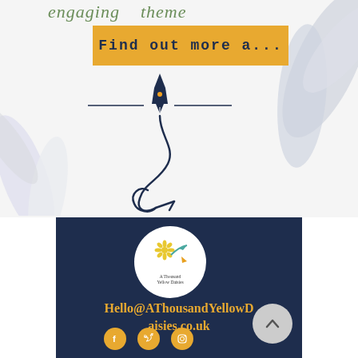engaging theme
Find out more a...
[Figure (illustration): Dark navy fountain pen with decorative swirl/anchor below, flanked by horizontal lines, on white floral background with white petals left and right]
[Figure (logo): A Thousand Yellow Daisies logo: circular white badge with daisy flower and pen icon, with text 'A Thousand Yellow Daisies' below]
Hello@AThousandYellowDaisies.co.uk
[Figure (infographic): Back to top chevron button (grey circle with upward arrow), and three social media icons (Facebook, Twitter, Instagram) in gold circles at bottom]